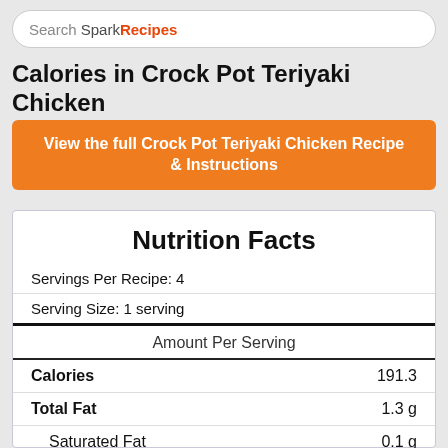Search SparkRecipes
Calories in Crock Pot Teriyaki Chicken
View the full Crock Pot Teriyaki Chicken Recipe & Instructions
| Nutrient | Amount |
| --- | --- |
| Servings Per Recipe: | 4 |
| Serving Size: | 1 serving |
| Amount Per Serving |  |
| Calories | 191.3 |
| Total Fat | 1.3 g |
| Saturated Fat | 0.1 g |